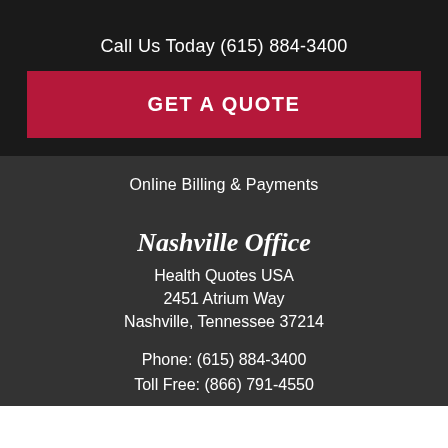Call Us Today (615) 884-3400
[Figure (other): Red call-to-action button with text GET A QUOTE]
Online Billing & Payments
Nashville Office
Health Quotes USA
2451 Atrium Way
Nashville, Tennessee 37214
Phone: (615) 884-3400
Toll Free: (866) 791-4550